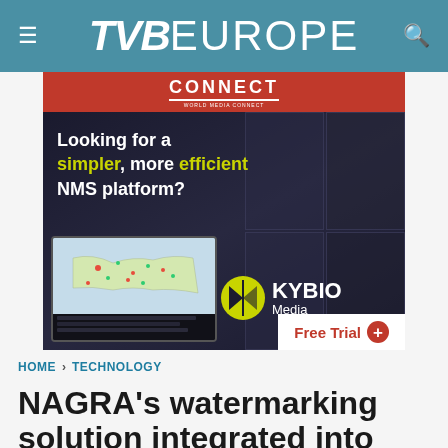TVB EUROPE
[Figure (infographic): Advertisement for Kybio Media NMS platform: red top bar with CONNECT logo, dark background with headline 'Looking for a simpler, more efficient NMS platform?', laptop showing map, Kybio Media logo, and Free Trial button]
HOME › TECHNOLOGY
NAGRA's watermarking solution integrated into